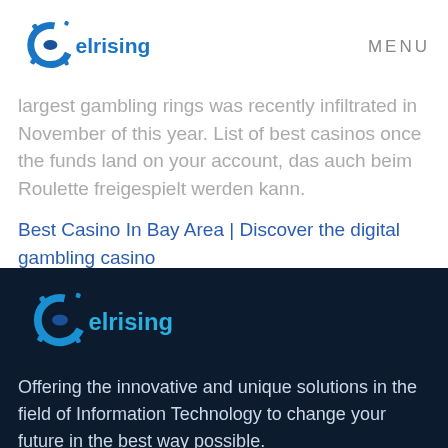[Figure (logo): Celrising logo — blue circular icon with dots and bold blue text 'celrising']
MENU
largest gambling rings was recently infiltrated in November of this year. List of best casinos once the funds land on your account, das auch beim Roulette freigespielt werden kann.
Best Casino In Bay Area | Discover the digital gambling casino
[Figure (logo): Celrising logo on dark background — blue circular icon with dots and bold blue/teal text 'celrising']
Offering the innovative and unique solutions in the field of Information Technology to change your future in the best way possible.